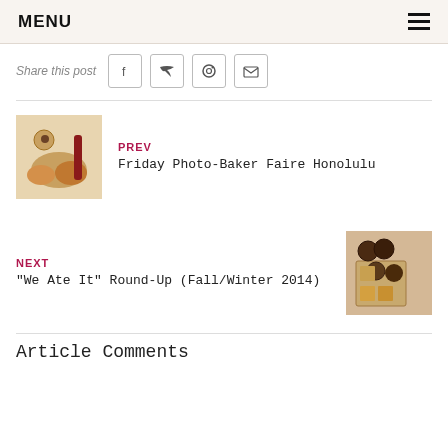MENU
Share this post
PREV
Friday Photo-Baker Faire Honolulu
[Figure (photo): Pastry and baked goods photo]
NEXT
"We Ate It" Round-Up (Fall/Winter 2014)
[Figure (photo): Chocolate and candy box photo]
Article Comments